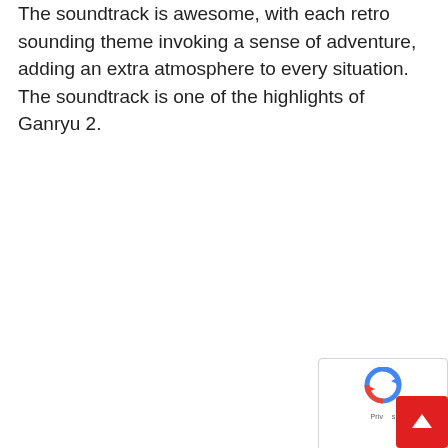The soundtrack is awesome, with each retro sounding theme invoking a sense of adventure, adding an extra atmosphere to every situation. The soundtrack is one of the highlights of Ganryu 2.
[Figure (other): reCAPTCHA logo widget (partial, bottom-right corner) with a blue circular arrow icon, 'Priv' text visible, and a red scroll-to-top button with a white upward arrow]